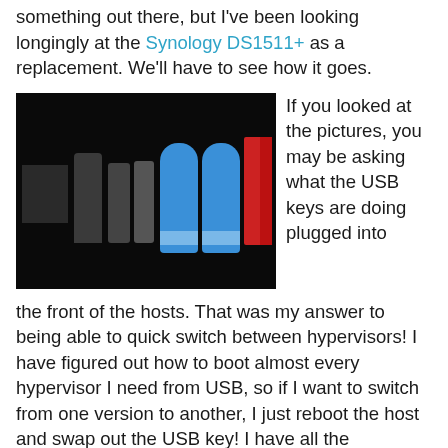something out there, but I've been looking longingly at the Synology DS1511+ as a replacement. We'll have to see how it goes.
[Figure (photo): Photograph of multiple USB flash drives lined up on a dark/black surface. From left to right: two black USB drives with white labels, several dark gray USB drives, two large blue rounded USB drives, and two red USB drives.]
If you looked at the pictures, you may be asking what the USB keys are doing plugged into the front of the hosts.  That was my answer to being able to quick switch between hypervisors!  I have figured out how to boot almost every hypervisor I need from USB, so if I want to switch from one version to another, I just reboot the host and swap out the USB key!  I have all the standards, including vSphere 4.1, XenServer, Xen 4.1.1 and Microsoft Hyper-V server.  I've also got some new